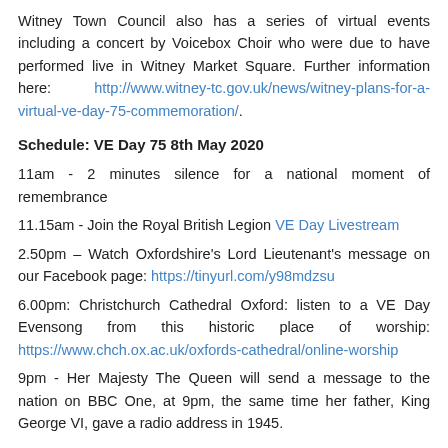Witney Town Council also has a series of virtual events including a concert by Voicebox Choir who were due to have performed live in Witney Market Square. Further information here: http://www.witney-tc.gov.uk/news/witney-plans-for-a-virtual-ve-day-75-commemoration/.
Schedule: VE Day 75 8th May 2020
11am - 2 minutes silence for a national moment of remembrance
11.15am - Join the Royal British Legion VE Day Livestream
2.50pm – Watch Oxfordshire's Lord Lieutenant's message on our Facebook page: https://tinyurl.com/y98mdzsu
6.00pm: Christchurch Cathedral Oxford: listen to a VE Day Evensong from this historic place of worship: https://www.chch.ox.ac.uk/oxfords-cathedral/online-worship
9pm - Her Majesty The Queen will send a message to the nation on BBC One, at 9pm, the same time her father, King George VI, gave a radio address in 1945.